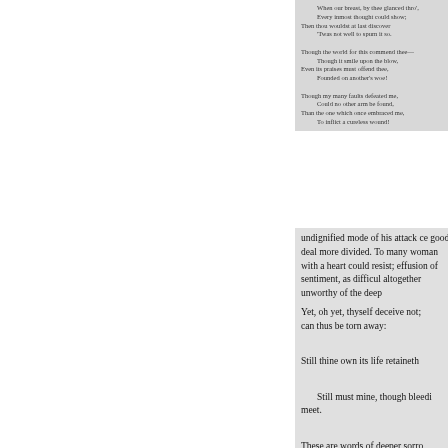When our breast, by thee glanced thro', Every inmost thought could show; Then thou wouldst at last discover 'Twas not well to spurn it so.

Though the world for this commend thee— Though it smile upon the blow, Even its praises must offend thee, Founded on another's woe!

Though my many faults defeated me, Could no other arm be found, Than the one which once embraced me, To inflict a cureless wound!
undignified mode of his attack ce good deal more divided. To many woman with a heart could resist; effusion of sentiment, as difficul altogether unworthy of the deep
Yet, oh yet, thyself deceive not; can thus be torn away:

Still thine own its life retaineth

    Still must mine, though bleedi meet.

These are words of deeper sorro

    Wake us from a widow'd bed.

And when thou would solace gat

    When our child's first accents

    Though his care she must for